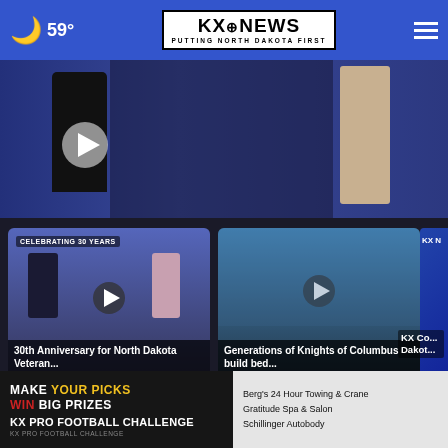59° KX News – Putting North Dakota First
[Figure (screenshot): Hero video thumbnail showing silhouetted figures on a dark background with a play button]
[Figure (screenshot): Video thumbnail: 30th Anniversary for North Dakota Veteran... with CELEBRATING 30 YEARS label and play button]
30th Anniversary for North Dakota Veteran...
12 hours ago
[Figure (screenshot): Video thumbnail: Generations of Knights of Columbus build bed... with play button]
Generations of Knights of Columbus build bed...
7 hours ago
[Figure (screenshot): Partial video thumbnail: KX Co... Dakota...]
More Videos ›
[Figure (infographic): KX Pro Football Challenge ad: MAKE YOUR PICKS WIN BIG PRIZES]
Berg's 24 Hour Towing & Crane
Gratitude Spa & Salon
Schillinger Autobody